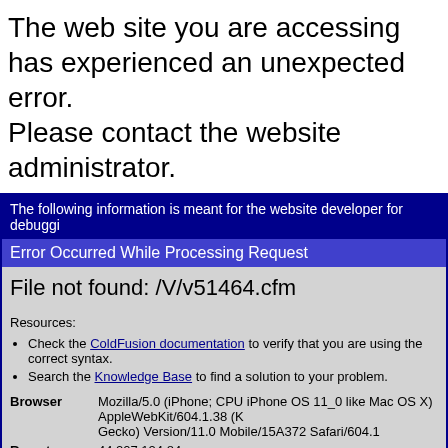The web site you are accessing has experienced an unexpected error.
Please contact the website administrator.
The following information is meant for the website developer for debugging purposes.
Error Occurred While Processing Request
File not found: /V/v51464.cfm
Resources:
Check the ColdFusion documentation to verify that you are using the correct syntax.
Search the Knowledge Base to find a solution to your problem.
| Field | Value |
| --- | --- |
| Browser | Mozilla/5.0 (iPhone; CPU iPhone OS 11_0 like Mac OS X) AppleWebKit/604.1.38 (KHTML, like Gecko) Version/11.0 Mobile/15A372 Safari/604.1 |
| Remote Address | 44.207.124.84 |
| Referrer |  |
| Date/Time | 22-Aug-22 04:25 AM |
| Stack Trace |  |
coldfusion.runtime.TemplateNotFoundException: File not found: /V/v51
	at coldfusion.filter.PathFilter.invoke(PathFilter.java:165)